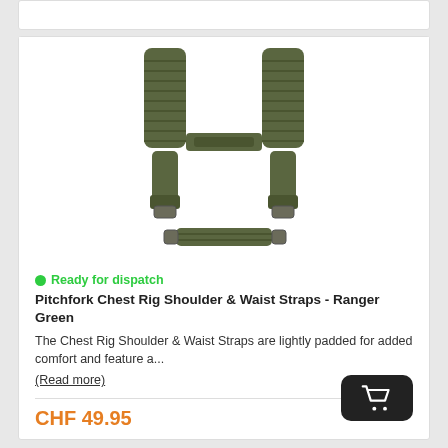[Figure (photo): Pitchfork Chest Rig Shoulder & Waist Straps in Ranger Green color, showing an H-harness style shoulder strap system with padded straps and a separate waist strap below]
Ready for dispatch
Pitchfork Chest Rig Shoulder & Waist Straps - Ranger Green
The Chest Rig Shoulder & Waist Straps are lightly padded for added comfort and feature a...
(Read more)
CHF 49.95